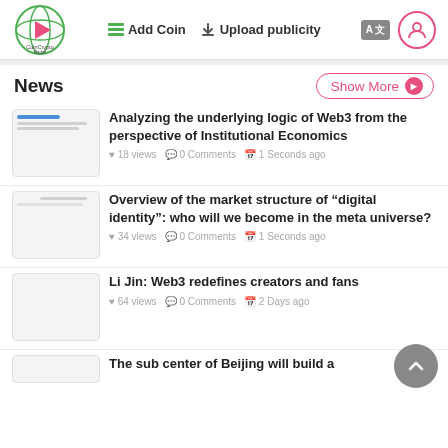CoinCryptoRadar | Add Coin | Upload publicity
News
Show More
Analyzing the underlying logic of Web3 from the perspective of Institutional Economics
18 views  0 Comments  1 Seconds ago
Overview of the market structure of "digital identity": who will we become in the meta universe?
34 views  0 Comments  1 Seconds ago
Li Jin: Web3 redefines creators and fans
64 views  0 Comments  2 Days ago
The sub center of Beijing will build a